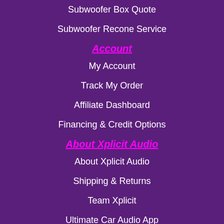Subwoofer Box Quote
Subwoofer Recone Service
Account
My Account
Track My Order
Affiliate Dashboard
Financing & Credit Options
About Xplicit Audio
About Xplicit Audio
Shipping & Returns
Team Xplicit
Ultimate Car Audio App
Community
Join Our Affiliate Program
Become a Dealer